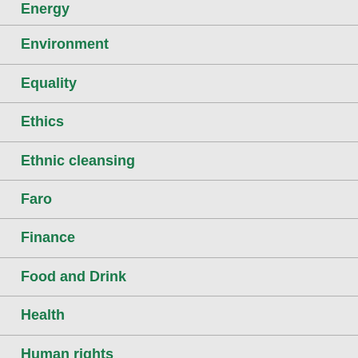Energy
Environment
Equality
Ethics
Ethnic cleansing
Faro
Finance
Food and Drink
Health
Human rights